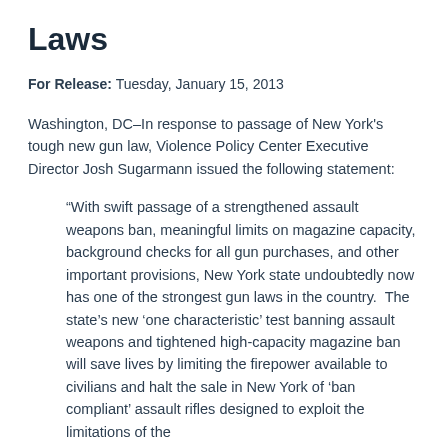Laws
For Release: Tuesday, January 15, 2013
Washington, DC–In response to passage of New York's tough new gun law, Violence Policy Center Executive Director Josh Sugarmann issued the following statement:
“With swift passage of a strengthened assault weapons ban, meaningful limits on magazine capacity, background checks for all gun purchases, and other important provisions, New York state undoubtedly now has one of the strongest gun laws in the country.  The state’s new ‘one characteristic’ test banning assault weapons and tightened high-capacity magazine ban will save lives by limiting the firepower available to civilians and halt the sale in New York of ‘ban compliant’ assault rifles designed to exploit the limitations of the